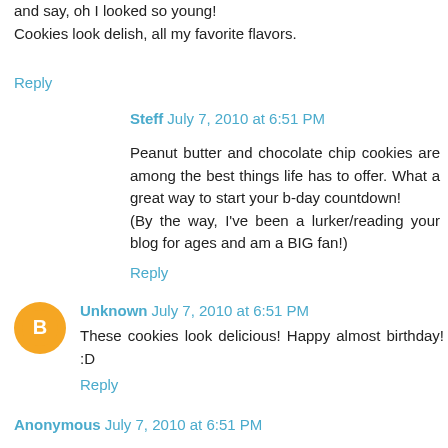and say, oh I looked so young!
Cookies look delish, all my favorite flavors.
Reply
Steff  July 7, 2010 at 6:51 PM
Peanut butter and chocolate chip cookies are among the best things life has to offer. What a great way to start your b-day countdown!
(By the way, I've been a lurker/reading your blog for ages and am a BIG fan!)
Reply
Unknown  July 7, 2010 at 6:51 PM
These cookies look delicious! Happy almost birthday! :D
Reply
Anonymous  July 7, 2010 at 6:51 PM